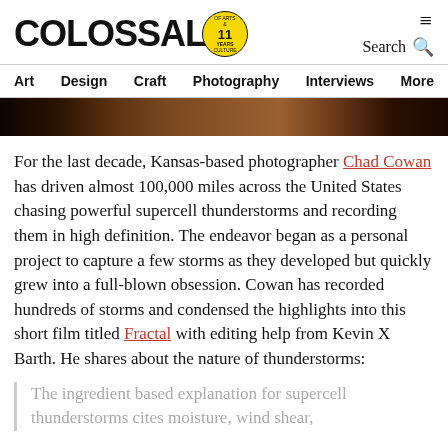COLOSSAL — Of Arts & Years & Culture. Search. Navigation: Art, Design, Craft, Photography, Interviews, More
[Figure (photo): Hero image — dark brown/black gradient landscape photo strip]
For the last decade, Kansas-based photographer Chad Cowan has driven almost 100,000 miles across the United States chasing powerful supercell thunderstorms and recording them in high definition. The endeavor began as a personal project to capture a few storms as they developed but quickly grew into a full-blown obsession. Cowan has recorded hundreds of storms and condensed the highlights into this short film titled Fractal with editing help from Kevin X Barth. He shares about the nature of thunderstorms:
The ingredient based explanation for supercell thunderstorms cites moisture, wind shear,